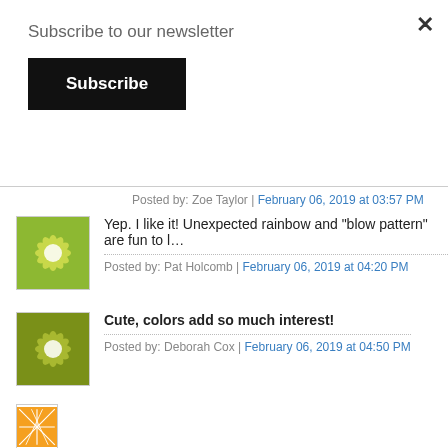Subscribe to our newsletter
Subscribe
Posted by: Zoe Taylor | February 06, 2019 at 03:57 PM
Yep. I like it! Unexpected rainbow and "blow pattern" are fun to l…
Posted by: Pat Holcomb | February 06, 2019 at 04:20 PM
Cute, colors add so much interest!
Posted by: Deborah Cox | February 06, 2019 at 04:50 PM
Love the vibrant colors what a great idea for this stamp Thanks t…
Posted by: Lori Thielen | February 06, 2019 at 04:55 PM
Love love love the industrial look of the stamps!!